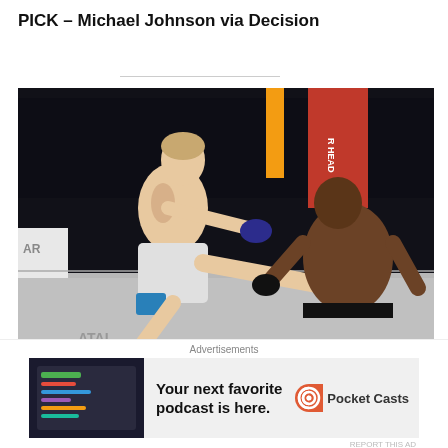PICK – Michael Johnson via Decision
[Figure (photo): MMA fight photo showing a fighter delivering a kick to another fighter inside a UFC octagon, with arena crowd and sponsors visible in background. UFC Vegas 54 event.]
UFC Vegas 54: Blachowicz vs Rakic – Early prelims predictions
May 12, 2022
Advertisements
[Figure (screenshot): Pocket Casts advertisement: Your next favorite podcast is here.]